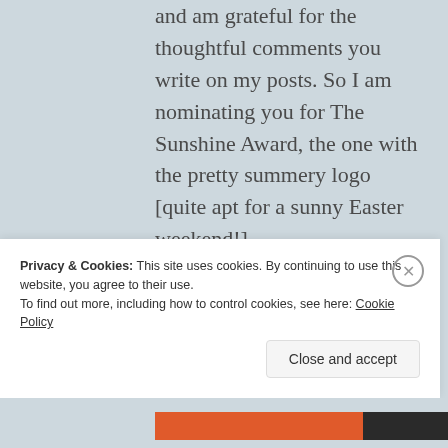and am grateful for the thoughtful comments you write on my posts. So I am nominating you for The Sunshine Award, the one with the pretty summery logo [quite apt for a sunny Easter weekend!]. Please click below to read more about the award:-
Privacy & Cookies: This site uses cookies. By continuing to use this website, you agree to their use. To find out more, including how to control cookies, see here: Cookie Policy
Close and accept